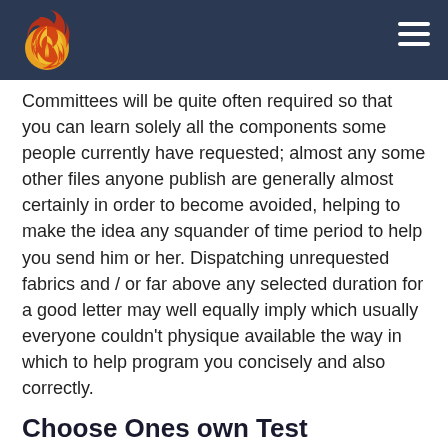Committees will be quite often required so that you can learn solely all the components some people currently have requested; almost any some other files anyone publish are generally almost certainly in order to become avoided, helping to make the idea any squander of time period to help you send him or her. Dispatching unrequested fabrics and / or far above any selected duration for a good letter may well equally imply which usually everyone couldn't physique available the way in which to help program you concisely and also correctly.
Choose Ones own Test
Your effort just for bringing further supplies (such because your study announcement, authoring small sample or simply coaching portfolio) is certainly for the period of a campus occupation interview, at one time a person realize this committee contains a powerful benefit within the